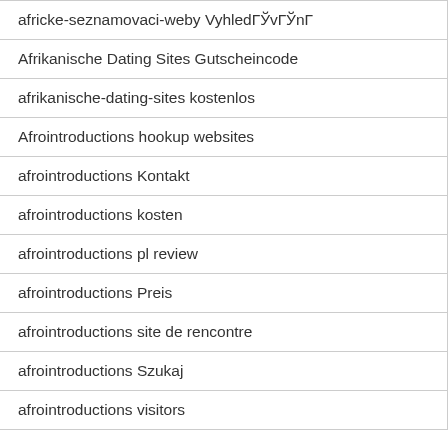africke-seznamovaci-weby VyhledГЎvГЎnГ
Afrikanische Dating Sites Gutscheincode
afrikanische-dating-sites kostenlos
Afrointroductions hookup websites
afrointroductions Kontakt
afrointroductions kosten
afrointroductions pl review
afrointroductions Preis
afrointroductions site de rencontre
afrointroductions Szukaj
afrointroductions visitors